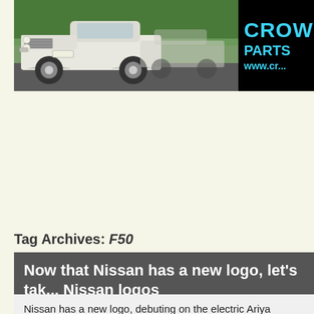[Figure (photo): Website banner showing a white classic Nissan pickup truck with chrome wheels parked outdoors, alongside the Crown logo with 'PARTS' text and 'www.cr...' website URL in cyan lettering on black background.]
Tag Archives: F50
Now that Nissan has a new logo, let's talk about all the Nissan logos
Posted on July 17, 2020 by Ben Hsu
Nissan has a new logo, debuting on the electric Ariya Crosso... week. Usually we have to be dragged kicking and screaming...